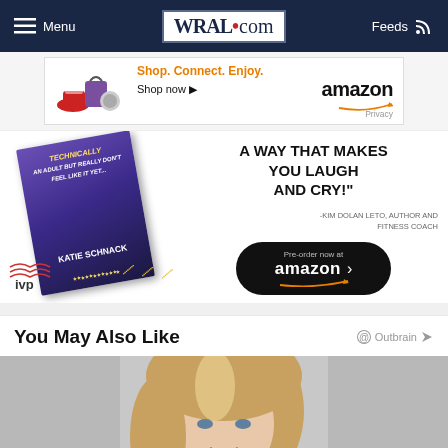Menu  WRAL.com  Feeds
[Figure (screenshot): Amazon advertisement banner: Shop. Connect. Enjoy. amazon. Shop now. Privacy.]
[Figure (screenshot): Book advertisement with book cover (Katie Schnack), quote 'A WAY THAT MAKES YOU LAUGH AND CRY!' by Kim Dolan Leto, Author and Fitness Coach. Pre-order now at amazon button. IVP publisher logo.]
You May Also Like
[Figure (photo): Photo of a blonde woman looking at the camera, gray background, partially visible (cropped at bottom of page).]